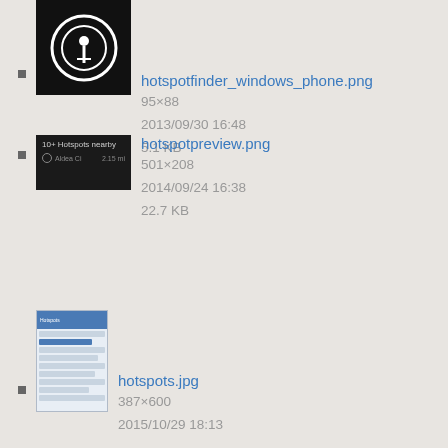hotspotfinder_windows_phone.png
95×88
2013/09/30 16:48
5.1 KB
hotspotpreview.png
501×208
2014/09/24 16:38
22.7 KB
hotspots.jpg
387×600
2015/10/29 18:13
26.2 KB